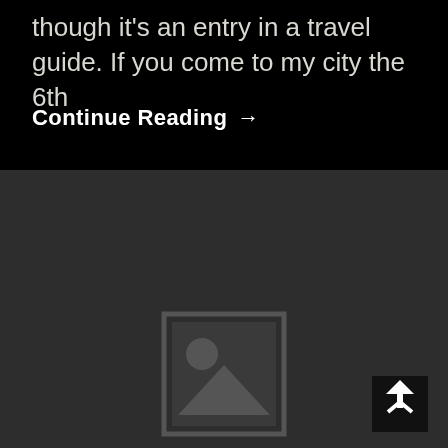though it’s an entry in a travel guide. If you come to my city the 6th
Continue Reading →
[Figure (illustration): Image placeholder icon: a square frame with a circle (sun) in the upper area and a mountain/triangle shape at the bottom, rendered in dark gray on a slightly lighter dark background.]
[Figure (illustration): Scroll-to-top button icon: an upward-pointing arrow with a caret/chevron arrow below it, white on a black square background, positioned in the bottom-right corner.]